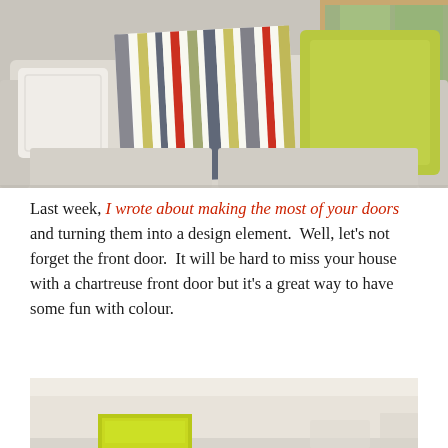[Figure (photo): A light grey sofa with decorative throw pillows: a striped pillow with grey, yellow-green, red and white vertical stripes, a solid yellow-green pillow, and a white textured pillow. A window with greenery is visible in the background.]
Last week, I wrote about making the most of your doors and turning them into a design element. Well, let's not forget the front door. It will be hard to miss your house with a chartreuse front door but it's a great way to have some fun with colour.
[Figure (photo): Partial view of an interior room with white/cream walls, and a chartreuse yellow-green door or panel visible at the bottom.]